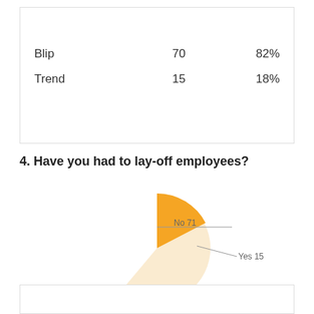| Blip | 70 | 82% |
| Trend | 15 | 18% |
4. Have you had to lay-off employees?
[Figure (pie-chart): ]